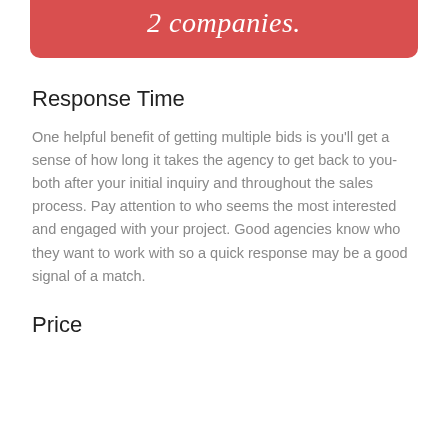2 companies.
Response Time
One helpful benefit of getting multiple bids is you'll get a sense of how long it takes the agency to get back to you- both after your initial inquiry and throughout the sales process. Pay attention to who seems the most interested and engaged with your project. Good agencies know who they want to work with so a quick response may be a good signal of a match.
Price